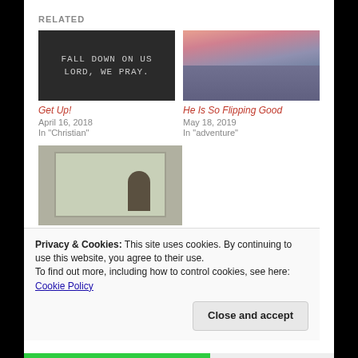RELATED
[Figure (photo): Dark image with text overlay reading FALL DOWN ON US LORD, WE PRAY.]
Get Up!
April 16, 2018
In "Christian"
[Figure (photo): Sunset over ocean with pink and purple clouds]
He Is So Flipping Good
May 18, 2019
In "adventure"
[Figure (photo): Person sitting at window looking outside at trees]
[Re]wrote my story
Privacy & Cookies: This site uses cookies. By continuing to use this website, you agree to their use.
To find out more, including how to control cookies, see here: Cookie Policy
Close and accept